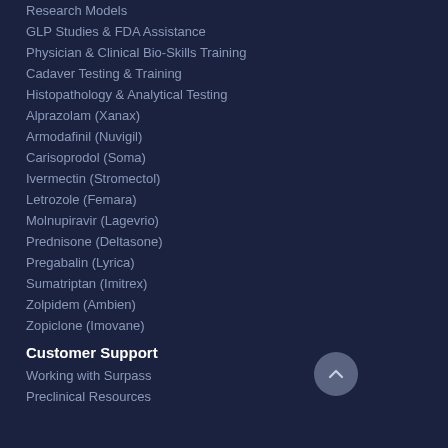Research Models
GLP Studies & FDA Assistance
Physician & Clinical Bio-Skills Training
Cadaver Testing & Training
Histopathology & Analytical Testing
Alprazolam (Xanax)
Armodafinil (Nuvigil)
Carisoprodol (Soma)
Ivermectin (Stromectol)
Letrozole (Femara)
Molnupiravir (Lagevrio)
Prednisone (Deltasone)
Pregabalin (Lyrica)
Sumatriptan (Imitrex)
Zolpidem (Ambien)
Zopiclone (Imovane)
Customer Support
Working with Surpass
Preclinical Resources